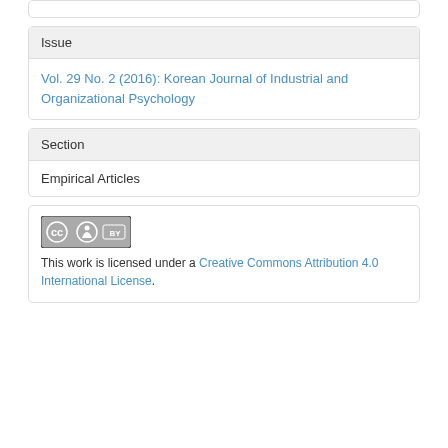Issue
Vol. 29 No. 2 (2016): Korean Journal of Industrial and Organizational Psychology
Section
Empirical Articles
This work is licensed under a Creative Commons Attribution 4.0 International License.